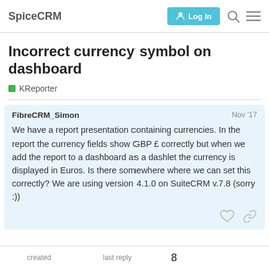SpiceCRM | Log In
Incorrect currency symbol on dashboard
KReporter
FibreCRM_Simon  Nov '17

We have a report presentation containing currencies. In the report the currency fields show GBP £ correctly but when we add the report to a dashboard as a dashlet the currency is displayed in Euros. Is there somewhere where we can set this correctly? We are using version 4.1.0 on SuiteCRM v.7.8 (sorry :))
created   last reply   8